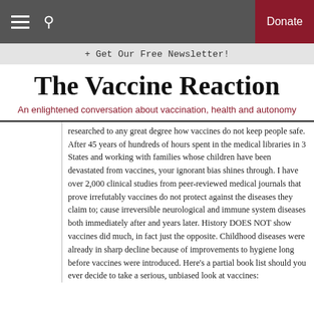☰  🔍   Donate
+ Get Our Free Newsletter!
The Vaccine Reaction
An enlightened conversation about vaccination, health and autonomy
researched to any great degree how vaccines do not keep people safe. After 45 years of hundreds of hours spent in the medical libraries in 3 States and working with families whose children have been devastated from vaccines, your ignorant bias shines through. I have over 2,000 clinical studies from peer-reviewed medical journals that prove irrefutably vaccines do not protect against the diseases they claim to; cause irreversible neurological and immune system diseases both immediately after and years later. History DOES NOT show vaccines did much, in fact just the opposite. Childhood diseases were already in sharp decline because of improvements to hygiene long before vaccines were introduced. Here's a partial book list should you ever decide to take a serious, unbiased look at vaccines: